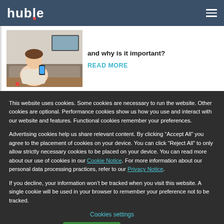huble
[Figure (photo): Person holding a smartphone, sitting indoors]
and why is it important?
READ MORE
This website uses cookies. Some cookies are necessary to run the website. Other cookies are optional. Performance cookies show us how you use and interact with our website and features. Functional cookies remember your preferences.
Advertising cookies help us share relevant content. By clicking “Accept All” you agree to the placement of cookies on your device. You can click “Reject All” to only allow strictly necessary cookies to be placed on your device. You can read more about our use of cookies in our Cookie Notice. For more information about our personal data processing practices, refer to our Privacy Notice.
If you decline, your information won’t be tracked when you visit this website. A single cookie will be used in your browser to remember your preference not to be tracked.
Cookies settings
Accept All
Decline All